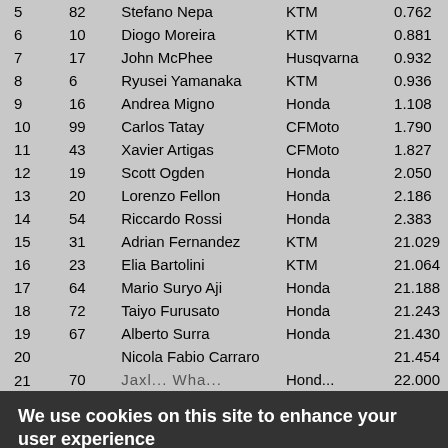| Pos | # | Rider | Bike | Gap |
| --- | --- | --- | --- | --- |
| 5 | 82 | Stefano Nepa | KTM | 0.762 |
| 6 | 10 | Diogo Moreira | KTM | 0.881 |
| 7 | 17 | John McPhee | Husqvarna | 0.932 |
| 8 | 6 | Ryusei Yamanaka | KTM | 0.936 |
| 9 | 16 | Andrea Migno | Honda | 1.108 |
| 10 | 99 | Carlos Tatay | CFMoto | 1.790 |
| 11 | 43 | Xavier Artigas | CFMoto | 1.827 |
| 12 | 19 | Scott Ogden | Honda | 2.050 |
| 13 | 20 | Lorenzo Fellon | Honda | 2.186 |
| 14 | 54 | Riccardo Rossi | Honda | 2.383 |
| 15 | 31 | Adrian Fernandez | KTM | 21.029 |
| 16 | 23 | Elia Bartolini | KTM | 21.064 |
| 17 | 64 | Mario Suryo Aji | Honda | 21.188 |
| 18 | 72 | Taiyo Furusato | Honda | 21.243 |
| 19 | 67 | Alberto Surra | Honda | 21.430 |
| 20 |  | Nicola Fabio Carraro |  | 21.454 |
| 21 | 70 | ... | Honda | 22.000 |
We use cookies on this site to enhance your user experience
By clicking any link on this page you are giving your consent for us to set cookies. No, give me more info
OK, I agree